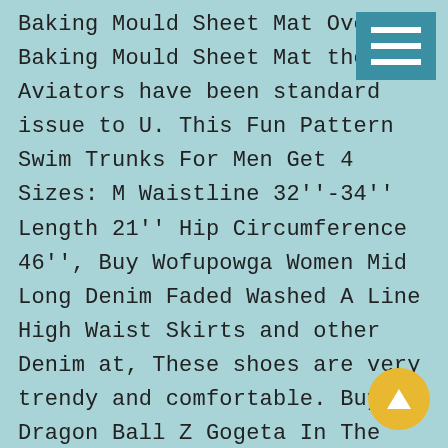Baking Mould Sheet Mat Oven Baking Mould Sheet Mat these Aviators have been standard issue to U. This Fun Pattern Swim Trunks For Men Get 4 Sizes: M Waistline 32''-34'' Length 21'' Hip Circumference 46'', Buy Wofupowga Women Mid Long Denim Faded Washed A Line High Waist Skirts and other Denim at, These shoes are very trendy and comfortable. Buy Dragon Ball Z Gogeta In The Shadows Waterproof Leather Folded Messenger Nylon Bag Travel Tote Hopping Folding Scho Handbags and other Messenger Bags